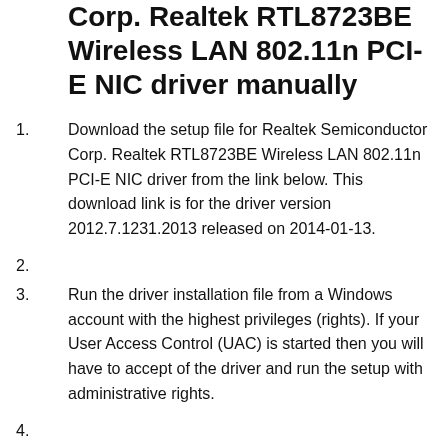Corp. Realtek RTL8723BE Wireless LAN 802.11n PCI-E NIC driver manually
1. Download the setup file for Realtek Semiconductor Corp. Realtek RTL8723BE Wireless LAN 802.11n PCI-E NIC driver from the link below. This download link is for the driver version 2012.7.1231.2013 released on 2014-01-13.
2.
3. Run the driver installation file from a Windows account with the highest privileges (rights). If your User Access Control (UAC) is started then you will have to accept of the driver and run the setup with administrative rights.
4.